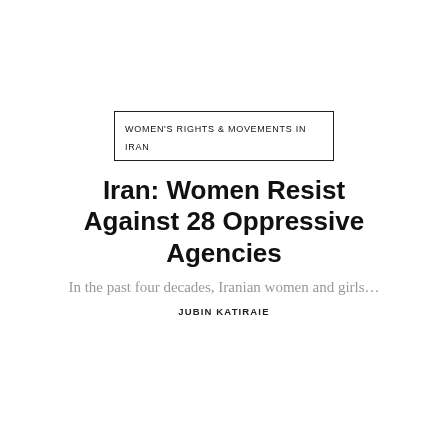WOMEN'S RIGHTS & MOVEMENTS IN IRAN
Iran: Women Resist Against 28 Oppressive Agencies
In the past four decades, Iranian women and girls...
JUBIN KATIRAIE